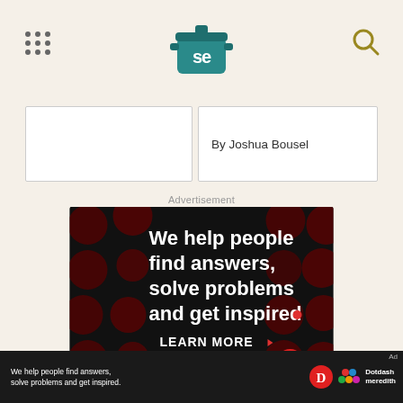[Figure (logo): Serious Eats 'se' pot logo in teal/dark teal at top center of page]
By Joshua Bousel
Advertisement
[Figure (photo): Dotdash Meredith advertisement on black background with dark red polka dots pattern. Large white bold text reads: We help people find answers, solve problems and get inspired. LEARN MORE with arrow. Dotdash logo (red circle with white D) and Meredith flower/knot logo at bottom right.]
[Figure (photo): Bottom bar advertisement banner: black background with 'We help people find answers, solve problems and get inspired.' in white text, Dotdash D logo and Meredith colorful knot logo, Dotdash meredith text in white. Ad label top right.]